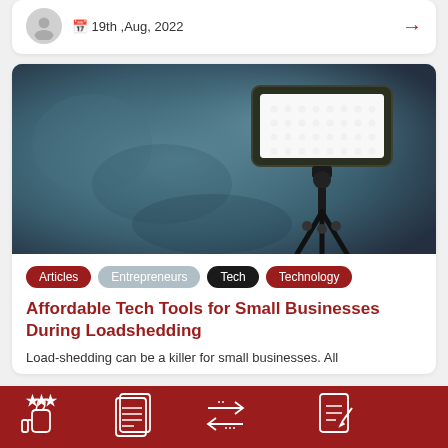19th ,Aug, 2022
[Figure (photo): LED video light panel on a tripod/stand against a dark teal blurred background]
Articles
Entrepreneurs
Tech
Technology
Affordable Tech Tools for Small Businesses During Loadshedding
Load-shedding can be a killer for small businesses. All
[Figure (illustration): Bottom navigation bar with four white icons on dark red background: thumbs up with stars (reviews), newspaper/list (articles), arrows (share/navigate), and notepad with pen (write/notes)]